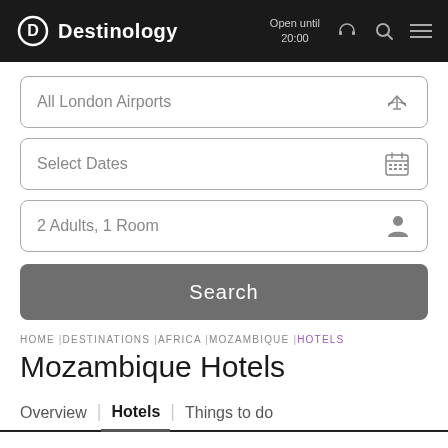Destinology — Open until 20:00
All London Airports
Select Dates
2 Adults, 1 Room
Search
HOME | DESTINATIONS | AFRICA | MOZAMBIQUE | HOTELS
Mozambique Hotels
Overview | Hotels | Things to do